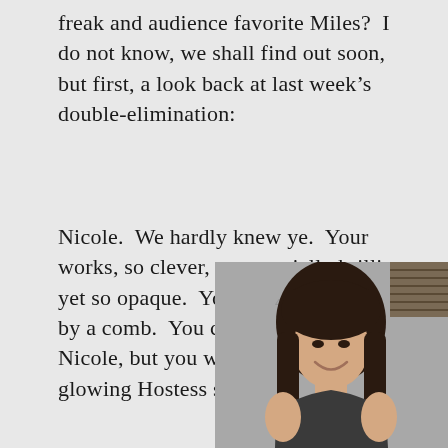freak and audience favorite Miles?  I do not know, we shall find out soon, but first, a look back at last week's double-elimination:
Nicole.  We hardly knew ye.  Your works, so clever, so materially brilliant, yet so opaque.  Your hair, so untouched by a comb.  You could have been great, Nicole, but you were felled by the glowing Hostess snack cake.
[Figure (photo): Black and white photo of a young woman with long dark hair, smiling, in front of a light-colored wall with window blinds visible in the upper right corner.]